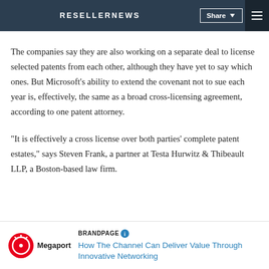RESELLERNEWS
million to settle Sun's antitrust case against it, and a further $350 million for royalties to license Sun technology.
The companies say they are also working on a separate deal to license selected patents from each other, although they have yet to say which ones. But Microsoft's ability to extend the covenant not to sue each year is, effectively, the same as a broad cross-licensing agreement, according to one patent attorney.
"It is effectively a cross license over both parties' complete patent estates," says Steven Frank, a partner at Testa Hurwitz & Thibeault LLP, a Boston-based law firm.
[Figure (logo): Megaport logo - red circle with antenna icon and Megaport text]
BRANDPAGE How The Channel Can Deliver Value Through Innovative Networking